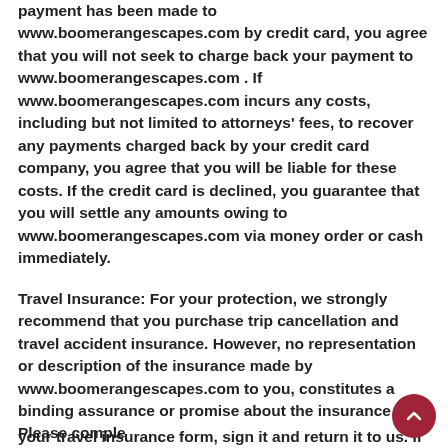payment has been made to www.boomerangescapes.com by credit card, you agree that you will not seek to charge back your payment to www.boomerangescapes.com . If www.boomerangescapes.com incurs any costs, including but not limited to attorneys' fees, to recover any payments charged back by your credit card company, you agree that you will be liable for these costs. If the credit card is declined, you guarantee that you will settle any amounts owing to www.boomerangescapes.com via money order or cash immediately.
Travel Insurance: For your protection, we strongly recommend that you purchase trip cancellation and travel accident insurance. However, no representation or description of the insurance made by www.boomerangescapes.com to you, constitutes a binding assurance or promise about the insurance. Please complete your travel insurance form, sign it and return it to us. If you